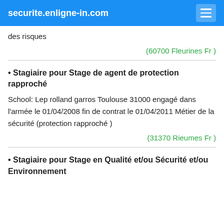securite.enligne-in.com
des risques
(60700 Fleurines Fr )
• Stagiaire pour Stage de agent de protection rapproché
School: Lep rolland garros Toulouse 31000 engagé dans l'armée le 01/04/2008 fin de contrat le 01/04/2011 Métier de la sécurité (protection rapproché )
(31370 Rieumes Fr )
• Stagiaire pour Stage en Qualité et/ou Sécurité et/ou Environnement